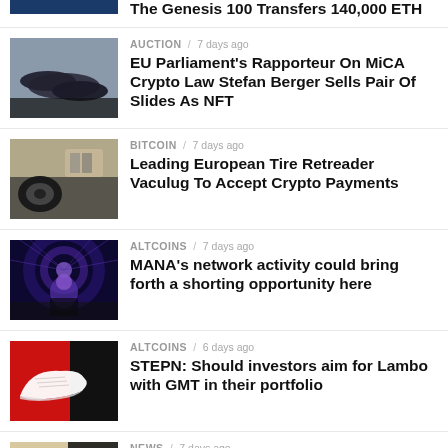The Genesis 100 Transfers 140,000 ETH
[Figure (photo): Photo of dark blue slides/sandals on dark background]
AUCTION / 7 days ago
EU Parliament's Rapporteur On MiCA Crypto Law Stefan Berger Sells Pair Of Slides As NFT
[Figure (photo): Photo of gloves/tires on dark background]
BITCOIN / 7 days ago
Leading European Tire Retreader Vaculug To Accept Crypto Payments
[Figure (photo): Photo of person with glowing lights background - Decentraland MANA theme]
ALTCOINS / 7 days ago
MANA's network activity could bring forth a shorting opportunity here
[Figure (photo): Photo of white sneaker on red background - STEPN GMT]
ALTCOINS / 6 days ago
STEPN: Should investors aim for Lambo with GMT in their portfolio
[Figure (photo): Photo of wooden gavel and coins - Ripple lawsuit]
NEWS / 7 days ago
Ripple lawsuit: SEC receives another...